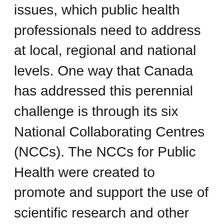issues, which public health professionals need to address at local, regional and national levels. One way that Canada has addressed this perennial challenge is through its six National Collaborating Centres (NCCs). The NCCs for Public Health were created to promote and support the use of scientific research and other knowledge to strengthen public health practice, programs and policies in Canada. The NCCs identify knowledge gaps, foster networks across sectors and jurisdictions and provide the public health system with an array of evidence-informed resources and